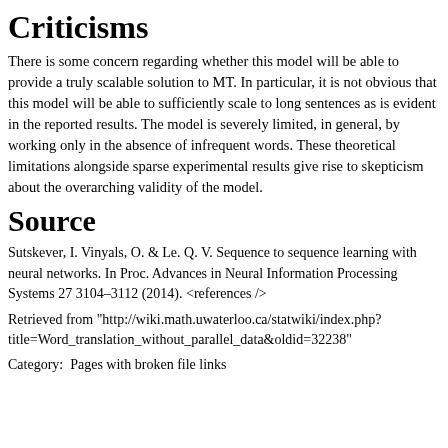Criticisms
There is some concern regarding whether this model will be able to provide a truly scalable solution to MT. In particular, it is not obvious that this model will be able to sufficiently scale to long sentences as is evident in the reported results. The model is severely limited, in general, by working only in the absence of infrequent words. These theoretical limitations alongside sparse experimental results give rise to skepticism about the overarching validity of the model.
Source
Sutskever, I. Vinyals, O. & Le. Q. V. Sequence to sequence learning with neural networks. In Proc. Advances in Neural Information Processing Systems 27 3104–3112 (2014). <references />
Retrieved from "http://wiki.math.uwaterloo.ca/statwiki/index.php?title=Word_translation_without_parallel_data&oldid=32238"
Category:  Pages with broken file links